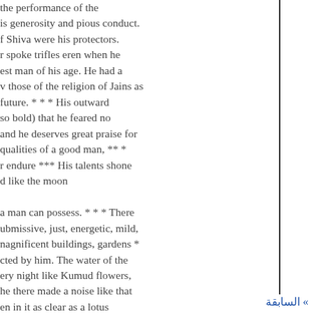the performance of the is generosity and pious conduct. f Shiva were his protectors. r spoke trifles eren when he est man of his age. He had a v those of the religion of Jains as future. * * * His outward so bold) that he feared no and he deserves great praise for qualities of a good man, ** * r endure *** His talents shone d like the moon

a man can possess. * * * There ubmissive, just, energetic, mild, nagnificent buildings, gardens * cted by him. The water of the ery night like Kumud flowers, he there made a noise like that en in it as clear as a lotus embellishment, and every ents of this Rajá's greatness ke Mahadev. The
» السابقة